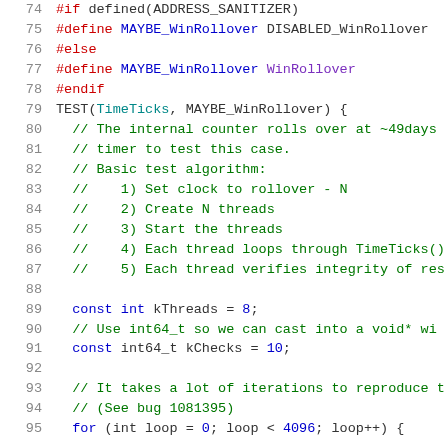[Figure (screenshot): Source code listing showing C++ preprocessor directives and a TEST function body with comments and variable declarations, line numbers 74-95]